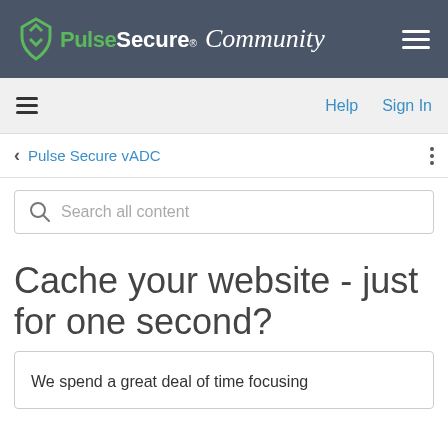[Figure (logo): Pulse Secure Community logo with green S icon, white Pulse Secure text, italic Community in cursive, on dark gray background with hamburger menu icon]
Help   Sign In
< Pulse Secure vADC
Search all content
Cache your website - just for one second?
We spend a great deal of time focusing